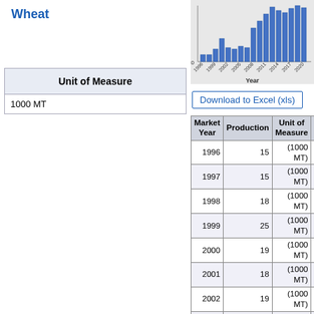Wheat
| Unit of Measure |
| --- |
| 1000 MT |
[Figure (bar-chart): Bar chart showing wheat production from 1996 to 2020]
Download to Excel (xls)
| Market Year | Production | Unit of Measure | Growth Rate |
| --- | --- | --- | --- |
| 1996 | 15 | (1000 MT) |  |
| 1997 | 15 | (1000 MT) | 0.00 |
| 1998 | 18 | (1000 MT) | 20.00 |
| 1999 | 25 | (1000 MT) | 38.89 |
| 2000 | 19 | (1000 MT) | -24.00 |
| 2001 | 18 | (1000 MT) | -5.26 |
| 2002 | 19 | (1000 MT) | 5.56 |
| 2003 | 18 | (1000 MT) | -5.26 |